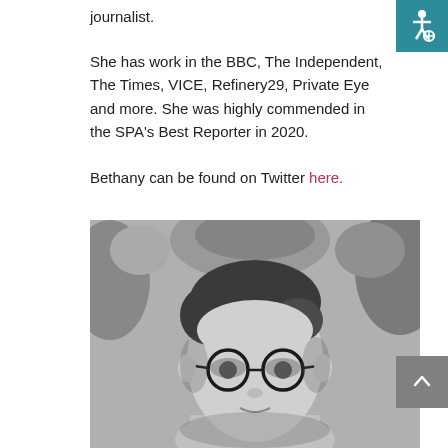journalist.
She has work in the BBC, The Independent, The Times, VICE, Refinery29, Private Eye and more. She was highly commended in the SPA’s Best Reporter in 2020.
Bethany can be found on Twitter here.
[Figure (photo): Black and white portrait photo of a person with glasses and swept-back hair, with foliage in the background.]